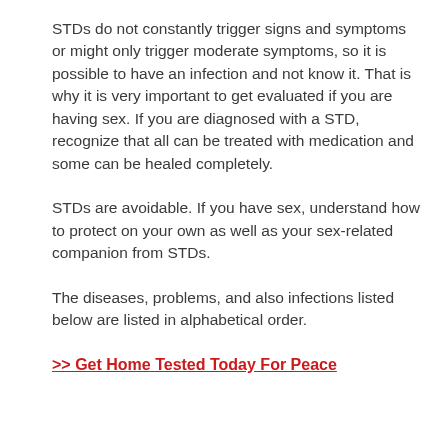STDs do not constantly trigger signs and symptoms or might only trigger moderate symptoms, so it is possible to have an infection and not know it. That is why it is very important to get evaluated if you are having sex. If you are diagnosed with a STD, recognize that all can be treated with medication and some can be healed completely.
STDs are avoidable. If you have sex, understand how to protect on your own as well as your sex-related companion from STDs.
The diseases, problems, and also infections listed below are listed in alphabetical order.
>> Get Home Tested Today For Peace